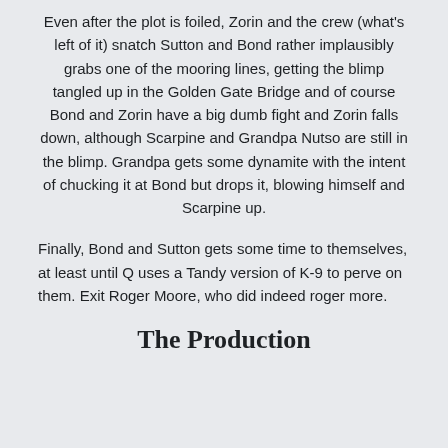Even after the plot is foiled, Zorin and the crew (what's left of it) snatch Sutton and Bond rather implausibly grabs one of the mooring lines, getting the blimp tangled up in the Golden Gate Bridge and of course Bond and Zorin have a big dumb fight and Zorin falls down, although Scarpine and Grandpa Nutso are still in the blimp. Grandpa gets some dynamite with the intent of chucking it at Bond but drops it, blowing himself and Scarpine up.
Finally, Bond and Sutton gets some time to themselves, at least until Q uses a Tandy version of K-9 to perve on them. Exit Roger Moore, who did indeed roger more.
The Production